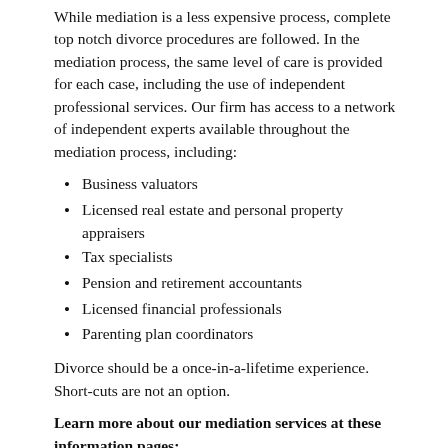While mediation is a less expensive process, complete top notch divorce procedures are followed. In the mediation process, the same level of care is provided for each case, including the use of independent professional services. Our firm has access to a network of independent experts available throughout the mediation process, including:
Business valuators
Licensed real estate and personal property appraisers
Tax specialists
Pension and retirement accountants
Licensed financial professionals
Parenting plan coordinators
Divorce should be a once-in-a-lifetime experience. Short-cuts are not an option.
Learn more about our mediation services at these information pages:
Divorce mediation
How mediation can save you money